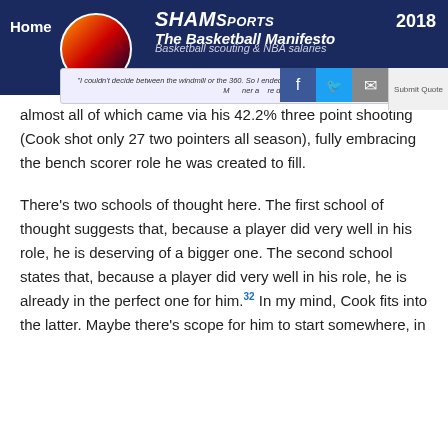Home | ShamSports | The Basketball Manifesto | 2018 | Basketball scouting & NBA salaries
almost all of which came via his 42.2% three point shooting (Cook shot only 27 two pointers all season), fully embracing the bench scorer role he was created to fill.
There’s two schools of thought here. The first school of thought suggests that, because a player did very well in his role, he is deserving of a bigger one. The second school states that, because a player did very well in his role, he is already in the perfect one for him.32 In my mind, Cook fits into the latter. Maybe there’s scope for him to start somewhere, in